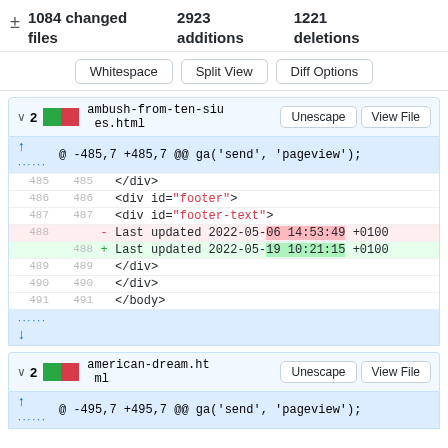± 1084 changed files   2923 additions   1221 deletions
Whitespace   Split View   Diff Options
∨ 2  ambush-from-ten-sides.html   Unescape   View File
@ -485,7 +485,7 @@ ga('send', 'pageview');
485  485     </div>
486  486     <div id="footer">
487  487     <div id="footer-text">
488       -  Last updated 2022-05-06 14:53:49 +0100
     488  +  Last updated 2022-05-19 10:21:15 +0100
489  489     </div>
490  490     </div>
491  491     </body>
∨ 2  american-dream.html   Unescape   View File
@ -495,7 +495,7 @@ ga('send', 'pageview');